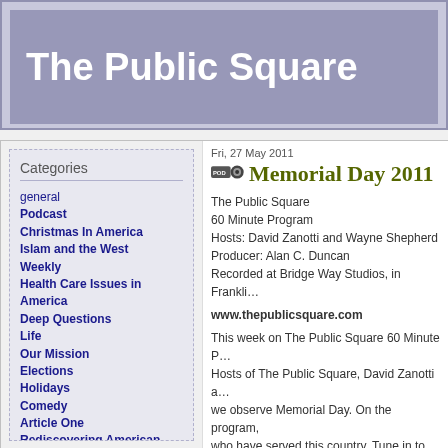The Public Square
Categories
general
Podcast
Christmas In America
Islam and the West
Weekly
Health Care Issues in America
Deep Questions
Life
Our Mission
Elections
Holidays
Comedy
Article One
Rediscovering American History
Intelligent Design
The American Mission®
Marriage
National Prayer Breakfast
Fri, 27 May 2011
Memorial Day 2011
The Public Square
60 Minute Program
Hosts: David Zanotti and Wayne Shepherd
Producer: Alan C. Duncan
Recorded at Bridge Way Studios, in Franklin
www.thepublicsquare.com
This week on The Public Square 60 Minute Program, Hosts of The Public Square, David Zanotti and... we observe Memorial Day. On the program, who have served this country. Tune in to be America's military heroes from today and thr...
Topic: Holidays
Direct download: May2811.mp3
Category: Podcast -- posted at: 11:08am EDT
Fri, 20 May 2011
Key Issues of 2012
The Public Square